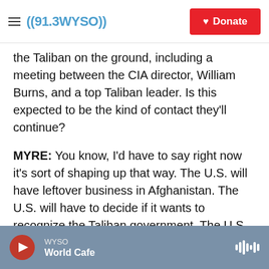((91.3WYSO)) | Donate
the Taliban on the ground, including a meeting between the CIA director, William Burns, and a top Taliban leader. Is this expected to be the kind of contact they'll continue?
MYRE: You know, I'd have to say right now it's sort of shaping up that way. The U.S. will have leftover business in Afghanistan. The U.S. will have to decide if it wants to recognize the Taliban government. The U.S. will have to decide if it wants to keep open this huge embassy that it has in Kabul. And Biden says there should be unfettered humanitarian access to Afghanistan. Now, perhaps
WYSO | World Cafe